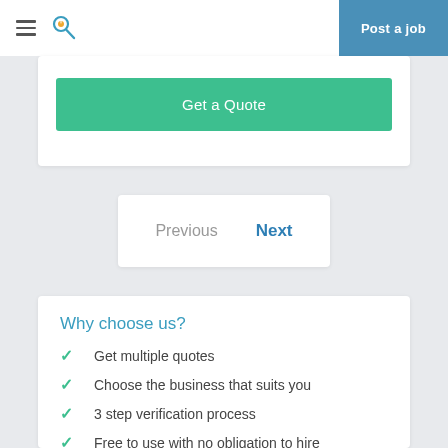Post a job
Get a Quote
Previous  Next
Why choose us?
Get multiple quotes
Choose the business that suits you
3 step verification process
Free to use with no obligation to hire